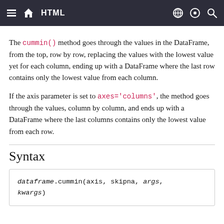HTML
The cummin() method goes through the values in the DataFrame, from the top, row by row, replacing the values with the lowest value yet for each column, ending up with a DataFrame where the last row contains only the lowest value from each column.
If the axis parameter is set to axes='columns', the method goes through the values, column by column, and ends up with a DataFrame where the last columns contains only the lowest value from each row.
Syntax